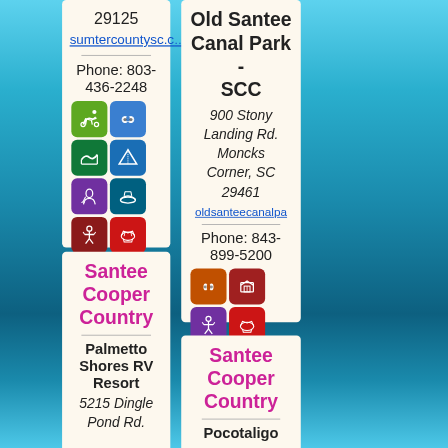29125
sumtercountysc.c...
Phone: 803-436-2248
[Figure (infographic): Activity icons: cycling, binoculars, water trail, camping, horse/dog, boating, hiking, kayaking, picnic table, running, group/people]
Old Santee Canal Park - SCC
900 Stony Landing Rd. Moncks Corner, SC 29461
oldsanteecanalpа...
Phone: 843-899-5200
[Figure (infographic): Activity icons: binoculars, museum/building, hiking, kayaking, picnic table, group/people]
Santee Cooper Country
Palmetto Shores RV Resort
5215 Dingle Pond Rd.
Santee Cooper Country
Pocotaligo